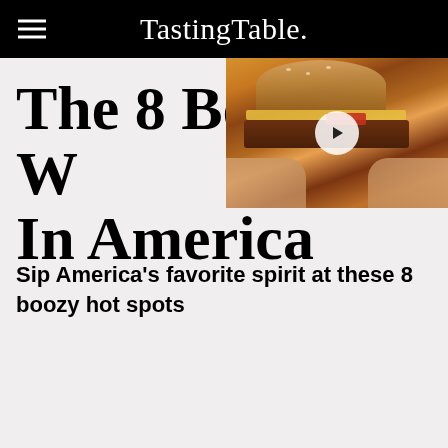Tasting Table.
The 8 Best W In America
[Figure (photo): Close-up photo of hands holding a gourmet burger with cheese, bacon, and toppings, with a video play button overlay]
Sip America's favorite spirit at these 8 boozy hot spots